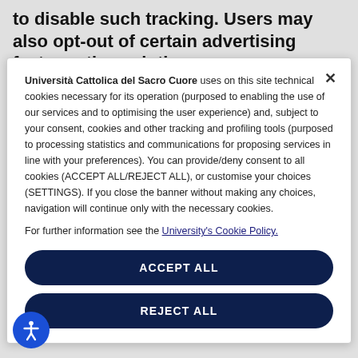to disable such tracking. Users may also opt-out of certain advertising features through the
Università Cattolica del Sacro Cuore uses on this site technical cookies necessary for its operation (purposed to enabling the use of our services and to optimising the user experience) and, subject to your consent, cookies and other tracking and profiling tools (purposed to processing statistics and communications for proposing services in line with your preferences). You can provide/deny consent to all cookies (ACCEPT ALL/REJECT ALL), or customise your choices (SETTINGS). If you close the banner without making any choices, navigation will continue only with the necessary cookies.
For further information see the University's Cookie Policy.
ACCEPT ALL
REJECT ALL